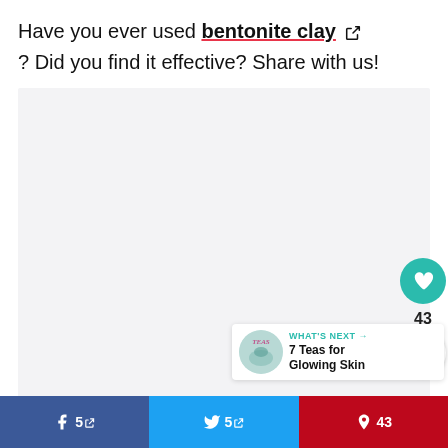Have you ever used bentonite clay? Did you find it effective? Share with us!
[Figure (other): Light gray placeholder image area for bentonite clay content]
WHAT'S NEXT → 7 Teas for Glowing Skin
Social share buttons: Facebook, Twitter, Pinterest